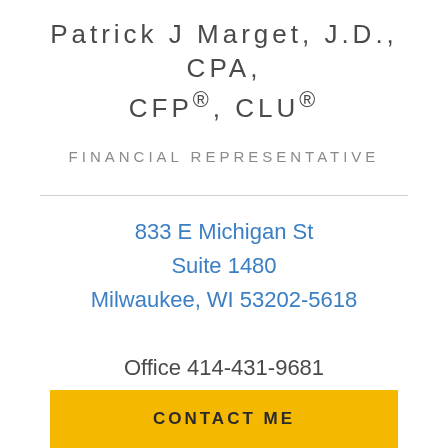Patrick J Marget, J.D., CPA, CFP®, CLU®
FINANCIAL REPRESENTATIVE
833 E Michigan St
Suite 1480
Milwaukee, WI 53202-5618
Office 414-431-9681
CONTACT ME